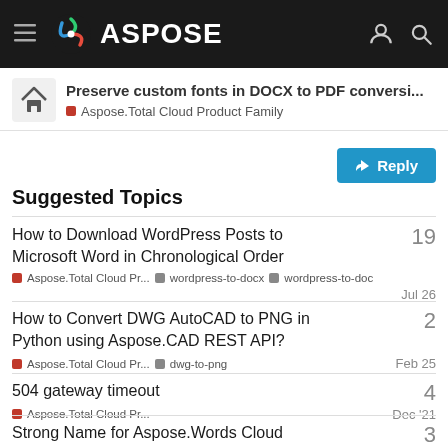ASPOSE
Preserve custom fonts in DOCX to PDF conversi... — Aspose.Total Cloud Product Family
Reply
Suggested Topics
How to Download WordPress Posts to Microsoft Word in Chronological Order — Aspose.Total Cloud Pr... wordpress-to-docx wordpress-to-doc — 19 replies — Jul 26
How to Convert DWG AutoCAD to PNG in Python using Aspose.CAD REST API? — Aspose.Total Cloud Pr... dwg-to-png — 2 replies — Feb 25
504 gateway timeout — Aspose.Total Cloud Pr... — 4 replies — Dec '21
Strong Name for Aspose.Words Cloud — 3 replies